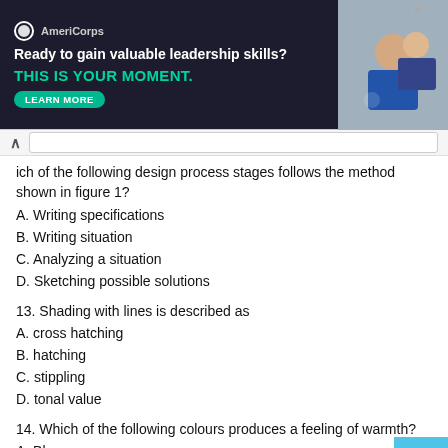[Figure (other): AmeriCorps advertisement banner: 'Ready to gain valuable leadership skills? THIS IS YOUR MOMENT.' with LEARN MORE button and photo of people on right side]
...ich of the following design process stages follows the method shown in figure 1?
A. Writing specifications
B. Writing situation
C. Analyzing a situation
D. Sketching possible solutions
13. Shading with lines is described as
A. cross hatching
B. hatching
C. stippling
D. tonal value
14. Which of the following colours produces a feeling of warmth?
A. Blue
B. Green